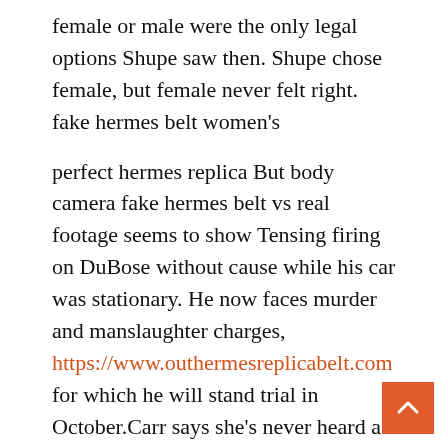female or male were the only legal options Shupe saw then. Shupe chose female, but female never felt right. fake hermes belt women's
perfect hermes replica But body camera fake hermes belt vs real footage seems to show Tensing firing on DuBose without cause while his car was stationary. He now faces murder and manslaughter charges, https://www.outhermesreplicabelt.com for which he will stand trial in October.Carr says she's never heard a satisfactory explanation for why the UC officer was there in the first place. She's angry that DuBose was killed.Some of her neighbors, including Charna Corbin, who lives a few houses down, are similarly distraught about DuBose's d and have suggested naming the street Hermes Replica Handbags after him. perfect hermes replica